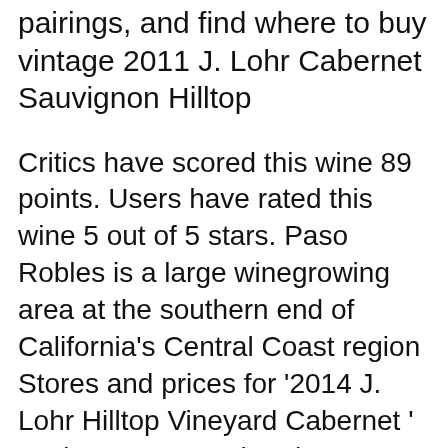pairings, and find where to buy vintage 2011 J. Lohr Cabernet Sauvignon Hilltop
Critics have scored this wine 89 points. Users have rated this wine 5 out of 5 stars. Paso Robles is a large winegrowing area at the southern end of California's Central Coast region Stores and prices for '2014 J. Lohr Hilltop Vineyard Cabernet ' tasting notes, market data, prices and stores in USA. 22.12.2017 · This is the second vintage release of J. Lohr's Signature wine, J. Lohr 2014 Signature Cabernet Sauvignon (Paso Robles) Santa Rita 2013 Casa Real Estate Bottled Cabernet Sauvignon ...